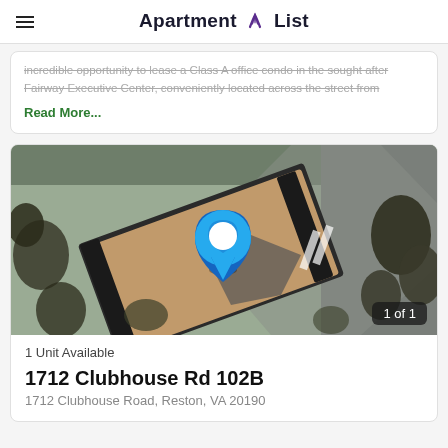Apartment List
incredible opportunity to lease a Class A office condo in the sought after Fairway Executive Center, conveniently located across the street from
Read More...
[Figure (photo): Aerial satellite view of a building with a blue location pin marker, labeled 1 of 1]
1 Unit Available
1712 Clubhouse Rd 102B
1712 Clubhouse Road, Reston, VA 20190